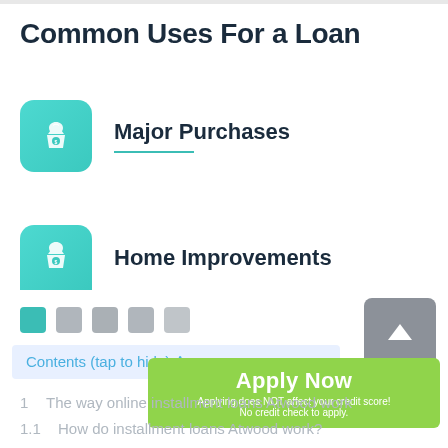Common Uses For a Loan
Major Purchases
Home Improvements
Contents (tap to hide) ^
Apply Now
Applying does NOT affect your credit score!
No credit check to apply.
1  The way online installment loans Atwood work
1.1  How do installment loans Atwood work?